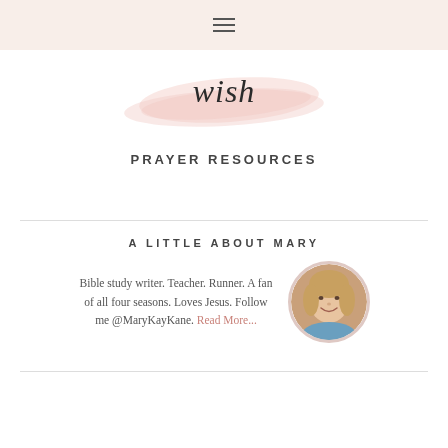≡ (hamburger menu icon)
[Figure (logo): Script cursive text 'wish' on a pink watercolor brushstroke background]
PRAYER RESOURCES
A LITTLE ABOUT MARY
Bible study writer. Teacher. Runner. A fan of all four seasons. Loves Jesus. Follow me @MaryKayKane. Read More...
[Figure (photo): Circular portrait photo of a smiling woman with shoulder-length blonde hair]